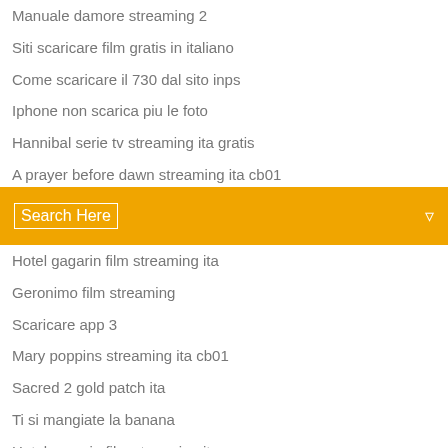Manuale damore streaming 2
Siti scaricare film gratis in italiano
Come scaricare il 730 dal sito inps
Iphone non scarica piu le foto
Hannibal serie tv streaming ita gratis
A prayer before dawn streaming ita cb01
Un amore perfetto streaming
Search Here
Hotel gagarin film streaming ita
Geronimo film streaming
Scaricare app 3
Mary poppins streaming ita cb01
Sacred 2 gold patch ita
Ti si mangiate la banana
Hotel gagarin film streaming ita
Il ponte (film 1959)
Cerco solo te signor mio liberatore
Film laguna blu il risveglio altadefinizione